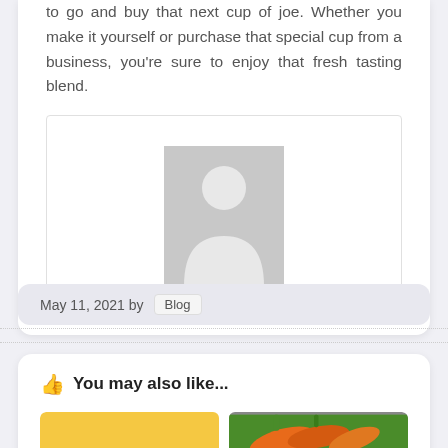to go and buy that next cup of joe. Whether you make it yourself or purchase that special cup from a business, you're sure to enjoy that fresh tasting blend.
[Figure (photo): Placeholder image with generic person silhouette icon on gray background]
May 11, 2021 by Blog
You may also like...
[Figure (photo): Two thumbnail images partially visible at bottom: left is yellow/orange, right shows carrots on green background]